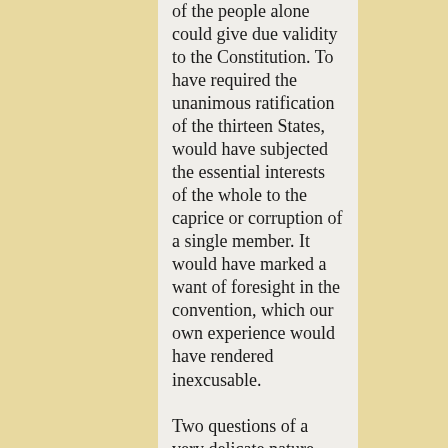of the people alone could give due validity to the Constitution. To have required the unanimous ratification of the thirteen States, would have subjected the essential interests of the whole to the caprice or corruption of a single member. It would have marked a want of foresight in the convention, which our own experience would have rendered inexcusable.

Two questions of a very delicate nature present